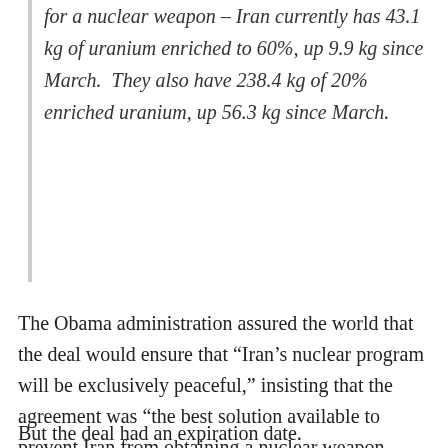for a nuclear weapon – Iran currently has 43.1 kg of uranium enriched to 60%, up 9.9 kg since March. They also have 238.4 kg of 20% enriched uranium, up 56.3 kg since March.
The Obama administration assured the world that the deal would ensure that “Iran’s nuclear program will be exclusively peaceful,” insisting that the agreement was “the best solution available to prevent Iran from obtaining a nuclear weapon without taking military action.”
But the deal had an expiration date.